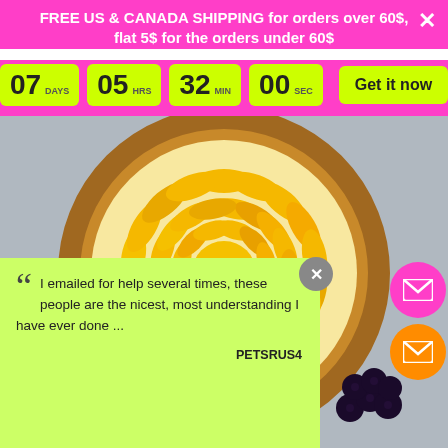FREE US & CANADA SHIPPING for orders over 60$, flat 5$ for the orders under 60$
[Figure (infographic): Countdown timer showing 07 DAYS, 05 HRS, 32 MIN, 00 SEC with a 'Get it now' button on a pink banner]
[Figure (photo): Top-down photo of a mango tart with two heart-shaped strawberry decorations and blackberries on yellow mango slices arranged in a spiral with a biscuit crust]
I emailed for help several times, these people are the nicest, most understanding I have ever done ...
PETSRUS4